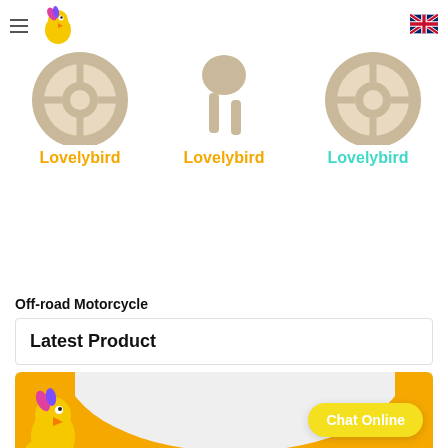Lovelybird — menu and language selector
[Figure (photo): Three product images (tan/beige circular toy wheels) with brand labels below: Lovelybird (yellow), Lovelybird (yellow), Lovelybird (cyan)]
Off-road Motorcycle
Latest Product
[Figure (infographic): Orange banner with white curved background, Lovelybird mascot bird on the left, and a yellow 'Chat Online' button on the right]